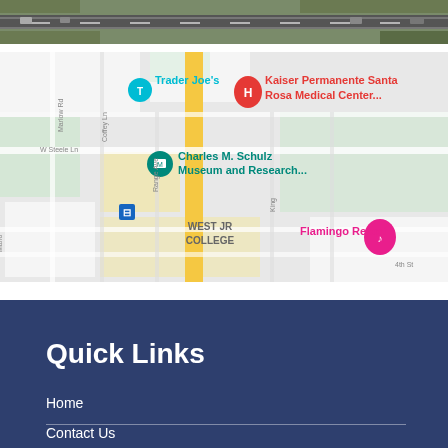[Figure (photo): Aerial/satellite view of street intersection, top portion of page]
[Figure (map): Google Maps view showing Kaiser Permanente Santa Rosa Medical Center, Trader Joe's, Charles M. Schulz Museum and Research..., WEST JR COLLEGE, Flamingo Resort, with street labels including Marlow Rd, Coffey Ln, Range Ave, W Steele Ln, King, 4th St]
Quick Links
Home
Contact Us